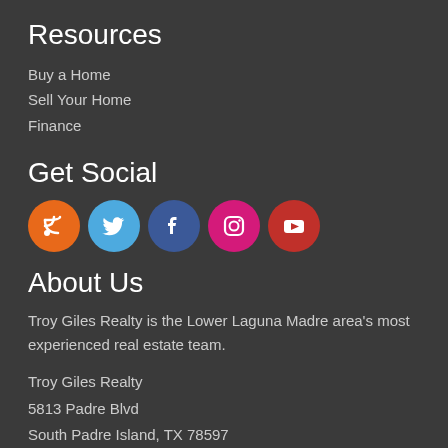Resources
Buy a Home
Sell Your Home
Finance
Get Social
[Figure (infographic): Social media icon buttons: RSS (orange), Twitter (light blue), Facebook (dark blue), Instagram (pink/red), YouTube (red)]
About Us
Troy Giles Realty is the Lower Laguna Madre area's most experienced real estate team.
Troy Giles Realty
5813 Padre Blvd
South Padre Island, TX 78597
(956) 761-2040